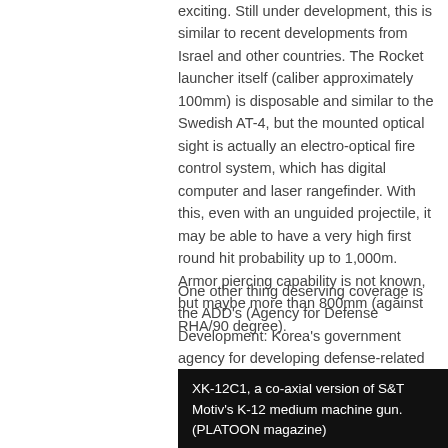exciting. Still under development, this is similar to recent developments from Israel and other countries. The Rocket launcher itself (caliber approximately 100mm) is disposable and similar to the Swedish AT-4, but the mounted optical sight is actually an electro-optical fire control system, which has digital computer and laser rangefinder. With this, even with an unguided projectile, it may be able to have a very high first round hit probability up to 1,000m. Armor piercing capability is not known, but maybe more than 800mm (against RHA/90 degree).
One other thing deserving coverage is the ADD's (Agency for Defense Development: Korea's government agency for developing defense-related technology) 40mm CT (Case Telescopic) cannon. CT's concept is already well known and will soon be fielded by the Brits on their infantry fighting vehicles; ROK is also developing very similar one, and will soon be complete and mount it on one of their armored vehicles.
XK-12C1, a co-axial version of S&T Motiv's K-12 medium machine gun. (PLATOON magazine)